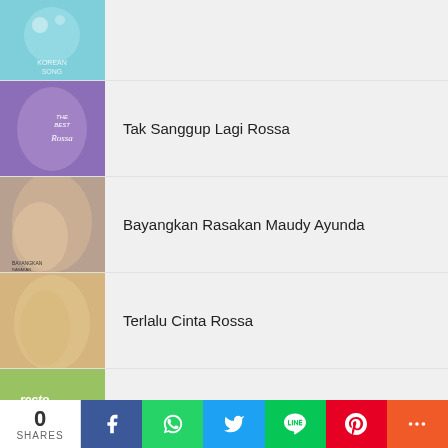[Figure (photo): Album art - partial teal/light blue album cover, top of list]
[Figure (photo): Album art - purple album cover 'The Best of Rossa']
Tak Sanggup Lagi Rossa
[Figure (photo): Album art - Maudy Ayunda album cover 'Bayangkan Rasakan']
Bayangkan Rasakan Maudy Ayunda
[Figure (photo): Album art - Rossa 'Terlalu Cinta' album cover]
Terlalu Cinta Rossa
[Figure (photo): Album art - Dee Lestari 'Recto Verso' album cover, green/yellow tones]
Malaikat Juga Tahu Dee Lestari
0
SHARES